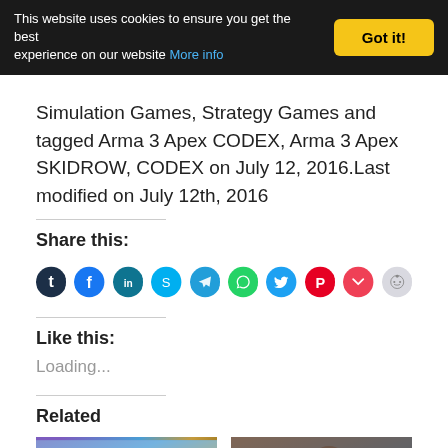This website uses cookies to ensure you get the best experience on our website More info [Got it!]
Simulation Games, Strategy Games and tagged Arma 3 Apex CODEX, Arma 3 Apex SKIDROW, CODEX on July 12, 2016.Last modified on July 12th, 2016
Share this:
[Figure (infographic): Row of 10 social media share buttons as colored circles: Tumblr (dark navy), Facebook (blue), LinkedIn (teal), Skype (cyan), Telegram (teal), WhatsApp (green), Twitter (light blue), Pinterest (red), Pocket (red), Reddit (light gray)]
Like this:
Loading...
Related
[Figure (photo): Two related article thumbnail images side by side: left shows historical game characters in Egyptian/Ottoman style, right shows a sci-fi armored warrior]